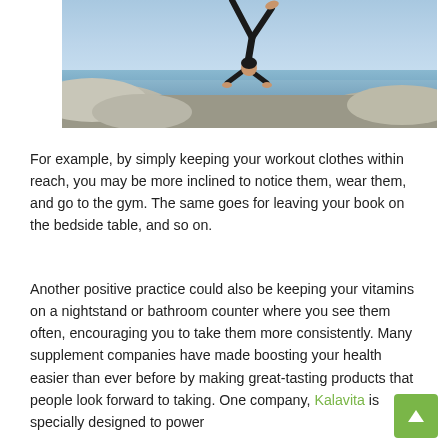[Figure (photo): A woman performing a yoga balancing pose on rocks near the ocean, wearing black athletic wear, with clear blue sky in the background.]
For example, by simply keeping your workout clothes within reach, you may be more inclined to notice them, wear them, and go to the gym. The same goes for leaving your book on the bedside table, and so on.
Another positive practice could also be keeping your vitamins on a nightstand or bathroom counter where you see them often, encouraging you to take them more consistently. Many supplement companies have made boosting your health easier than ever before by making great-tasting products that people look forward to taking. One company, Kalavita is specially designed to power